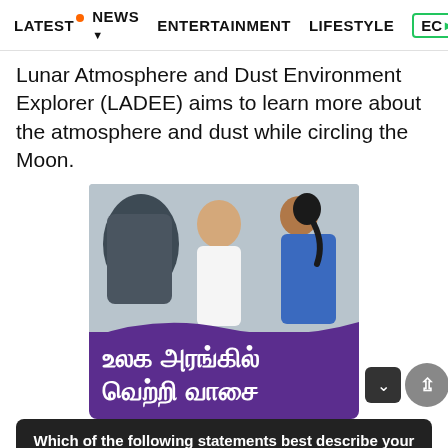LATEST  NEWS ▾  ENTERTAINMENT  LIFESTYLE  EC>
Lunar Atmosphere and Dust Environment Explorer (LADEE) aims to learn more about the atmosphere and dust while circling the Moon.
[Figure (photo): Advertisement image showing two people near medical/industrial equipment, with Tamil text 'உலக அரங்கில் வெற்றி வாசை' on purple background]
Which of the following statements best describe your plans for the rest of the year?
When l...on four decade...be a